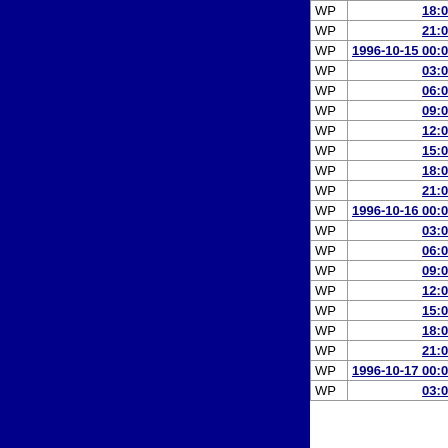|  | Timestamp | Type | Value |
| --- | --- | --- | --- |
| WP | 18:00:00 | TS | 16.8 |
| WP | 21:00:00 | TS | 17.0 |
| WP | 1996-10-15 00:00:00 | TS | 17.1 |
| WP | 03:00:00 | TS | 17.3 |
| WP | 06:00:00 | TS | 17.4 |
| WP | 09:00:00 | TS | 17.5 |
| WP | 12:00:00 | TS | 17.5 |
| WP | 15:00:00 | TS | 17.6 |
| WP | 18:00:00 | TS | 17.6 |
| WP | 21:00:00 | TS | 17.6 |
| WP | 1996-10-16 00:00:00 | TS | 17.6 |
| WP | 03:00:00 | TS | 17.6 |
| WP | 06:00:00 | TS | 17.6 |
| WP | 09:00:00 | TS | 17.5 |
| WP | 12:00:00 | TS | 17.5 |
| WP | 15:00:00 | TS | 17.5 |
| WP | 18:00:00 | TS | 17.5 |
| WP | 21:00:00 | TS | 17.5 |
| WP | 1996-10-17 00:00:00 | TS | 17.6 |
| WP | 03:00:00 | TS | 17.6 |